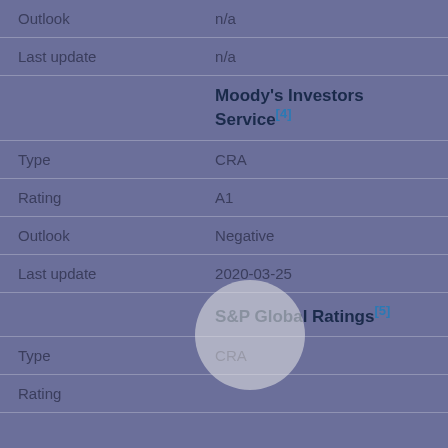| Field | Value |
| --- | --- |
| Outlook | n/a |
| Last update | n/a |
|  | Moody's Investors Service[4] |
| Type | CRA |
| Rating | A1 |
| Outlook | Negative |
| Last update | 2020-03-25 |
|  | S&P Global Ratings[5] |
| Type | CRA |
| Rating |  |